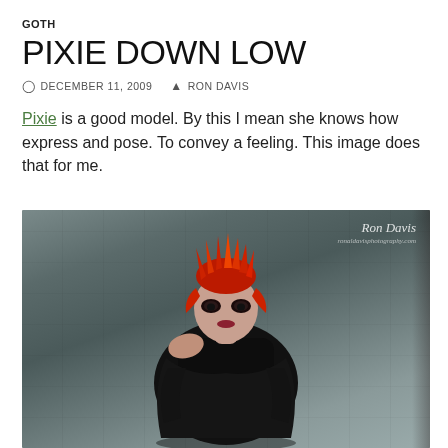GOTH
PIXIE DOWN LOW
DECEMBER 11, 2009   RON DAVIS
Pixie is a good model. By this I mean she knows how express and pose. To convey a feeling. This image does that for me.
[Figure (photo): Goth-style photoshoot of a woman (Pixie) with spiky red hair, dark eye makeup, wearing a black top/wrap, seated in a moody pose against a grey concrete wall background. Watermark reads 'Ron Davis' in the upper right corner.]